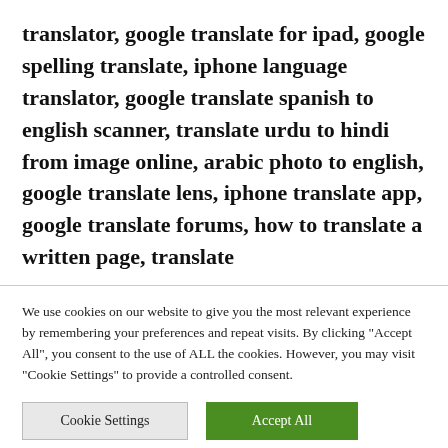translator, google translate for ipad, google spelling translate, iphone language translator, google translate spanish to english scanner, translate urdu to hindi from image online, arabic photo to english, google translate lens, iphone translate app, google translate forums, how to translate a written page, translate
We use cookies on our website to give you the most relevant experience by remembering your preferences and repeat visits. By clicking "Accept All", you consent to the use of ALL the cookies. However, you may visit "Cookie Settings" to provide a controlled consent.